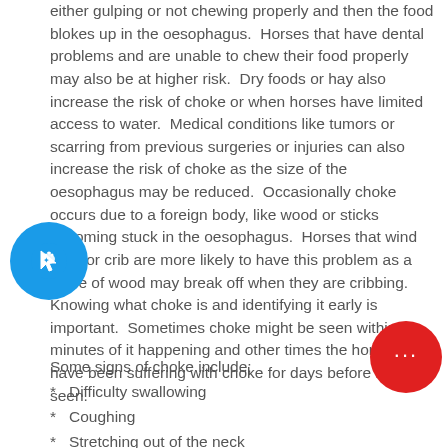either gulping or not chewing properly and then the food blokes up in the oesophagus. Horses that have dental problems and are unable to chew their food properly may also be at higher risk. Dry foods or hay also increase the risk of choke or when horses have limited access to water. Medical conditions like tumors or scarring from previous surgeries or injuries can also increase the risk of choke as the size of the oesophagus may be reduced. Occasionally choke occurs due to a foreign body, like wood or sticks becoming stuck in the oesophagus. Horses that wind suck or crib are more likely to have this problem as a piece of wood may break off when they are cribbing. Knowing what choke is and identifying it early is important. Sometimes choke might be seen within minutes of it happening and other times the horse may have been suffering with choke for days before being seen.
Some signs of choke include;
Difficulty swallowing
Coughing
Stretching out of the neck